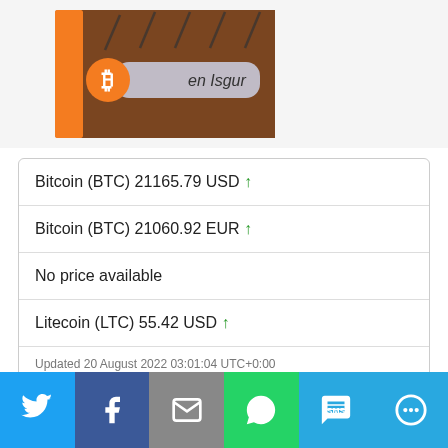[Figure (photo): Book cover with Bitcoin logo and text 'Ben Isgur', orange and brown colored box, shown at top of page]
Bitcoin (BTC) 21165.79 USD ↑
Bitcoin (BTC) 21060.92 EUR ↑
No price available
Litecoin (LTC) 55.42 USD ↑
Updated 20 August 2022 03:01:04 UTC+0:00
Powered by Cryptonator
[Figure (infographic): Social share bar with buttons: Twitter (blue), Facebook (dark blue), Email (gray), WhatsApp (green), SMS (light blue), More (light blue)]